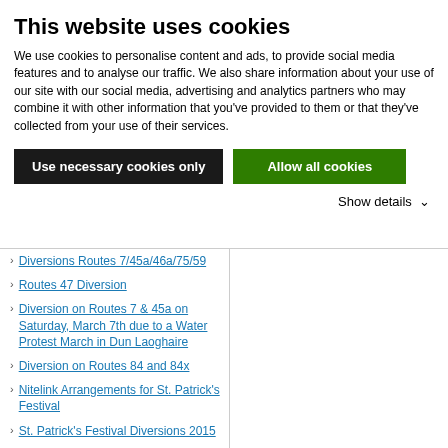This website uses cookies
We use cookies to personalise content and ads, to provide social media features and to analyse our traffic. We also share information about your use of our site with our social media, advertising and analytics partners who may combine it with other information that you've provided to them or that they've collected from your use of their services.
Use necessary cookies only | Allow all cookies
Show details
Diversions Routes 7/45a/46a/75/59
Routes 47 Diversion
Diversion on Routes 7 & 45a on Saturday, March 7th due to a Water Protest March in Dun Laoghaire
Diversion on Routes 84 and 84x
Nitelink Arrangements for St. Patrick's Festival
St. Patrick's Festival Diversions 2015
Diversion on routes 4, 9 and 140 due to Western Way Restrictions
Port Tunnel Closure